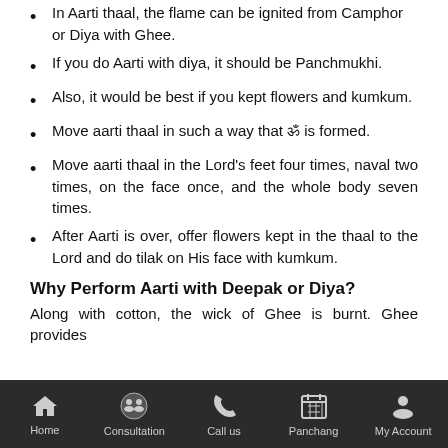In Aarti thaal, the flame can be ignited from Camphor or Diya with Ghee.
If you do Aarti with diya, it should be Panchmukhi.
Also, it would be best if you kept flowers and kumkum.
Move aarti thaal in such a way that ॐ is formed.
Move aarti thaal in the Lord's feet four times, naval two times, on the face once, and the whole body seven times.
After Aarti is over, offer flowers kept in the thaal to the Lord and do tilak on His face with kumkum.
Why Perform Aarti with Deepak or Diya?
Along with cotton, the wick of Ghee is burnt. Ghee provides
Home  Consultation  Call us  Panchang  My Account